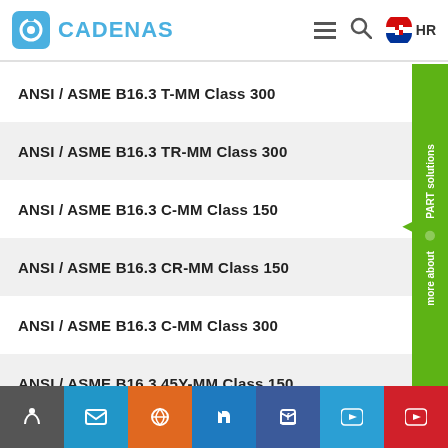CADENAS HR
ANSI / ASME B16.3 T-MM Class 300
ANSI / ASME B16.3 TR-MM Class 300
ANSI / ASME B16.3 C-MM Class 150
ANSI / ASME B16.3 CR-MM Class 150
ANSI / ASME B16.3 C-MM Class 300
ANSI / ASME B16.3 45Y-MM Class 150
ANSI / ASME B16.3 CS-MM Class 150
ANSI / ASME B16.3 CW-MM Class 150
ANSI / ASME B16.3 RCC-MM Class 150
ANSI / ASME B16.3 CS-MM Class 300
ANSI / ASME B16.3 CW-MM Class 300 (partial)